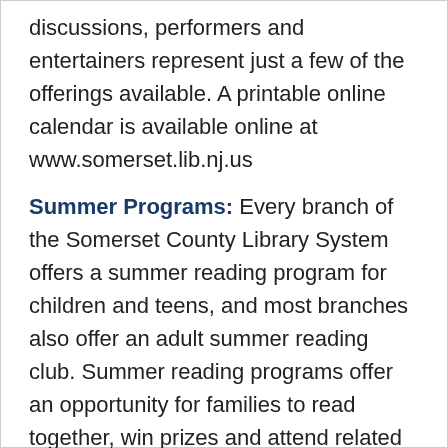discussions, performers and entertainers represent just a few of the offerings available. A printable online calendar is available online at www.somerset.lib.nj.us
Summer Programs: Every branch of the Somerset County Library System offers a summer reading program for children and teens, and most branches also offer an adult summer reading club. Summer reading programs offer an opportunity for families to read together, win prizes and attend related library programs and celebrations.
Membership Details:
The Somerset County Library System is funded by a dedicated library tax paid by the citizens of its thirteen member municipalities: Round